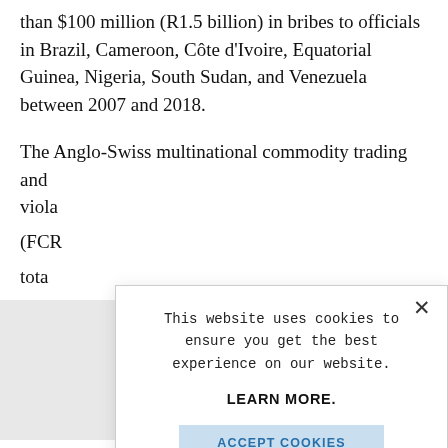than $100 million (R1.5 billion) in bribes to officials in Brazil, Cameroon, Côte d'Ivoire, Equatorial Guinea, Nigeria, South Sudan, and Venezuela between 2007 and 2018.
The Anglo-Swiss multinational commodity trading and [partially obscured] viola[ting] (FCR[A]) tota[l]...
[Figure (screenshot): Cookie consent modal dialog overlay on top of article text. Modal contains: close X button, text 'This website uses cookies to ensure you get the best experience on our website.', bold text 'LEARN MORE.', and a blue 'ACCEPT COOKIES' button.]
Glen[core] indic[ated]...